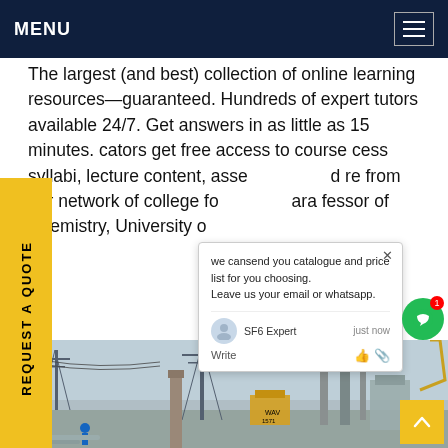MENU
The largest (and best) collection of online learning resources—guaranteed. Hundreds of expert tutors available 24/7. Get answers in as little as 15 minutes. cators get free access to course cess syllabi, lecture content, asse d re from our network of college fo ara fessor of Chemistry, University o
REQUEST A QUOTE
we cansend you catalogue and price list for you choosing. Leave us your email or whatsapp.
SF6 Expert   justnow
Write
[Figure (photo): Electrical substation with high-voltage transmission towers, transformers, and industrial equipment including a crane and workers in hard hats]